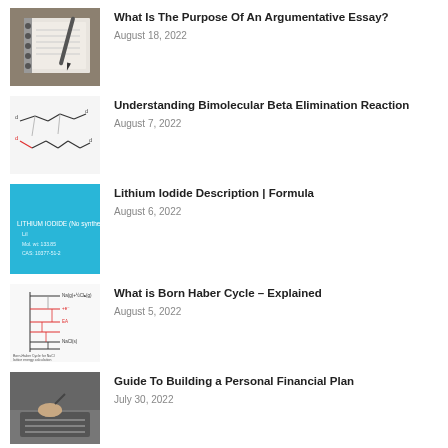What Is The Purpose Of An Argumentative Essay?
August 18, 2022
Understanding Bimolecular Beta Elimination Reaction
August 7, 2022
Lithium Iodide Description | Formula
August 6, 2022
What is Born Haber Cycle – Explained
August 5, 2022
Guide To Building a Personal Financial Plan
July 30, 2022